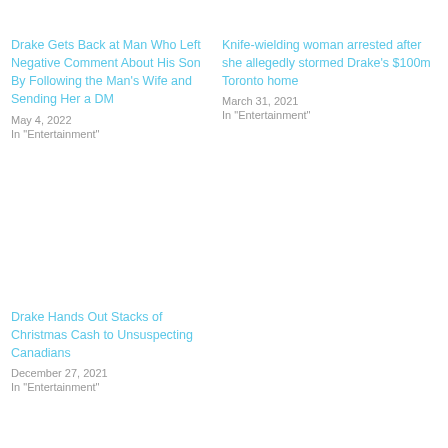Drake Gets Back at Man Who Left Negative Comment About His Son By Following the Man's Wife and Sending Her a DM
May 4, 2022
In "Entertainment"
Knife-wielding woman arrested after she allegedly stormed Drake's $100m Toronto home
March 31, 2021
In "Entertainment"
Drake Hands Out Stacks of Christmas Cash to Unsuspecting Canadians
December 27, 2021
In "Entertainment"